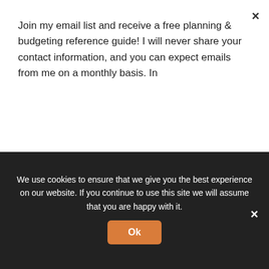Join my email list and receive a free planning & budgeting reference guide! I will never share your contact information, and you can expect emails from me on a monthly basis. In
[Figure (other): Orange Subscribe button]
dive. That seems about right.
[Figure (photo): Photo of a child indoors]
Negative!
July 26, 2022
[Figure (photo): Photo of a child at the beach]
Some big news I have been holding
We use cookies to ensure that we give you the best experience on our website. If you continue to use this site we will assume that you are happy with it.
[Figure (other): Orange Ok button]